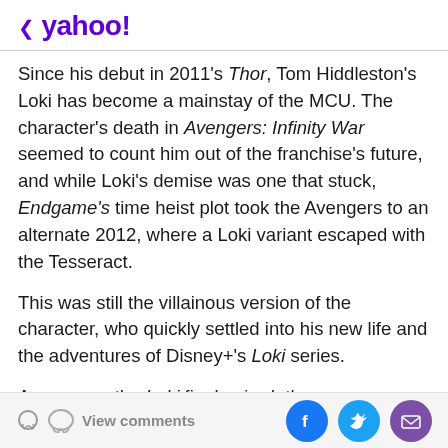< yahoo!
Since his debut in 2011's Thor, Tom Hiddleston's Loki has become a mainstay of the MCU. The character's death in Avengers: Infinity War seemed to count him out of the franchise's future, and while Loki's demise was one that stuck, Endgame's time heist plot took the Avengers to an alternate 2012, where a Loki variant escaped with the Tesseract.
This was still the villainous version of the character, who quickly settled into his new life and the adventures of Disney+'s Loki series.
As soon as the Loki finale aired, there was confirmation season 2 was on the way. Buried in a report from The
View comments